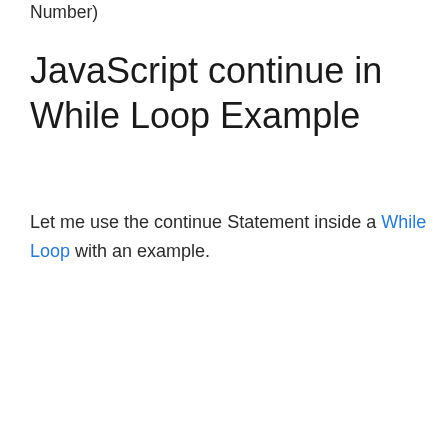Number)
JavaScript continue in While Loop Example
Let me use the continue Statement inside a While Loop with an example.